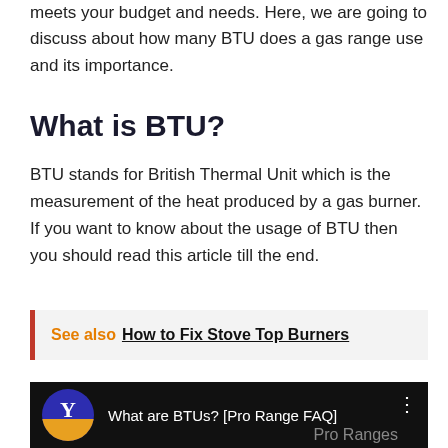meets your budget and needs. Here, we are going to discuss about how many BTU does a gas range use and its importance.
What is BTU?
BTU stands for British Thermal Unit which is the measurement of the heat produced by a gas burner. If you want to know about the usage of BTU then you should read this article till the end.
See also  How to Fix Stove Top Burners
[Figure (screenshot): YouTube video thumbnail showing 'What are BTUs? [Pro Range FAQ]' with a channel icon (blue circle with Y and gold arc) on a dark background, with 'Pro Ranges' watermark in bottom right.]